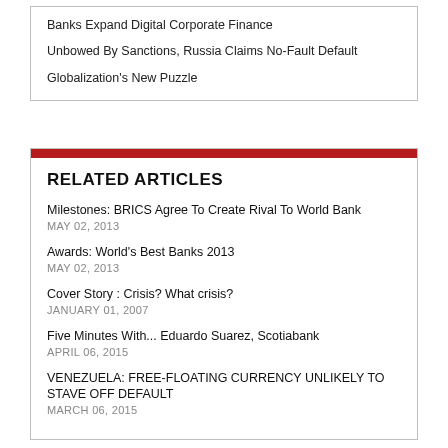Banks Expand Digital Corporate Finance
Unbowed By Sanctions, Russia Claims No-Fault Default
Globalization's New Puzzle
RELATED ARTICLES
Milestones: BRICS Agree To Create Rival To World Bank
MAY 02, 2013
Awards: World's Best Banks 2013
MAY 02, 2013
Cover Story : Crisis? What crisis?
JANUARY 01, 2007
Five Minutes With... Eduardo Suarez, Scotiabank
APRIL 06, 2015
VENEZUELA: FREE-FLOATING CURRENCY UNLIKELY TO STAVE OFF DEFAULT
MARCH 06, 2015